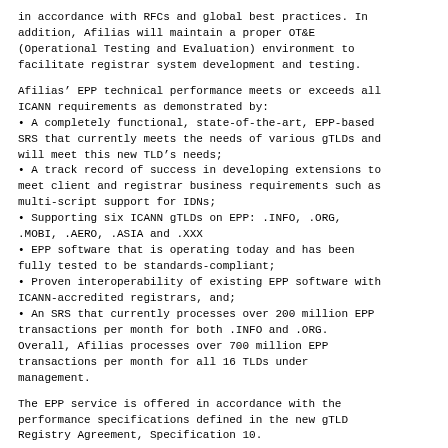in accordance with RFCs and global best practices. In addition, Afilias will maintain a proper OT&E (Operational Testing and Evaluation) environment to facilitate registrar system development and testing.
Afilias' EPP technical performance meets or exceeds all ICANN requirements as demonstrated by:
• A completely functional, state-of-the-art, EPP-based SRS that currently meets the needs of various gTLDs and will meet this new TLD's needs;
• A track record of success in developing extensions to meet client and registrar business requirements such as multi-script support for IDNs;
• Supporting six ICANN gTLDs on EPP: .INFO, .ORG, .MOBI, .AERO, .ASIA and .XXX
• EPP software that is operating today and has been fully tested to be standards-compliant;
• Proven interoperability of existing EPP software with ICANN-accredited registrars, and;
• An SRS that currently processes over 200 million EPP transactions per month for both .INFO and .ORG. Overall, Afilias processes over 700 million EPP transactions per month for all 16 TLDs under management.
The EPP service is offered in accordance with the performance specifications defined in the new gTLD Registry Agreement, Specification 10.
EPP Standards